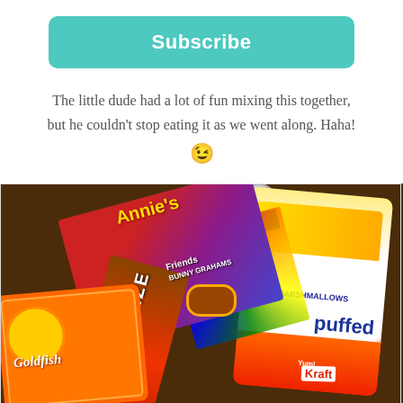[Figure (other): Teal/turquoise Subscribe button with rounded corners and white bold text]
The little dude had a lot of fun mixing this together, but he couldn't stop eating it as we went along. Haha! 😉
[Figure (photo): Overhead photo on a dark wood table showing Annie's Homegrown Friends Bunny Grahams box (sharing size), Pepperidge Farm Goldfish crackers box, Kraft Puffed marshmallows bag, and M&Ms candies along with a stuffed animal toy in the background]